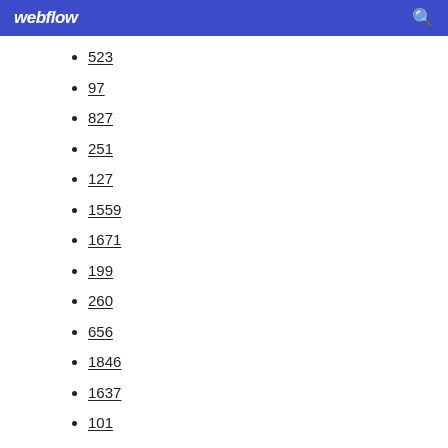webflow
523
97
827
251
127
1559
1671
199
260
656
1846
1637
101